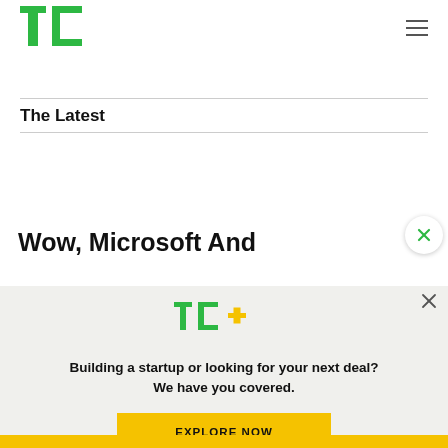[Figure (logo): TechCrunch TC green logo]
The Latest
Wow, Microsoft And
[Figure (logo): TechCrunch TC+ logo with green TC and gold plus sign]
Building a startup or looking for your next deal? We have you covered.
EXPLORE NOW